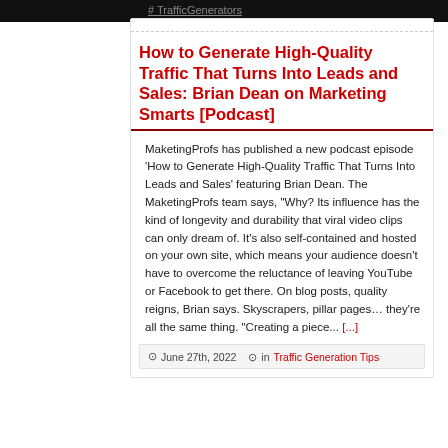# TrafficGenerators
How to Generate High-Quality Traffic That Turns Into Leads and Sales: Brian Dean on Marketing Smarts [Podcast]
MaketingProfs has published a new podcast episode 'How to Generate High-Quality Traffic That Turns Into Leads and Sales' featuring Brian Dean. The MaketingProfs team says, "Why? Its influence has the kind of longevity and durability that viral video clips can only dream of. It's also self-contained and hosted on your own site, which means your audience doesn't have to overcome the reluctance of leaving YouTube or Facebook to get there. On blog posts, quality reigns, Brian says. Skyscrapers, pillar pages… they're all the same thing. "Creating a piece... [...]
⊙ June 27th, 2022   ⊙ in Traffic Generation Tips